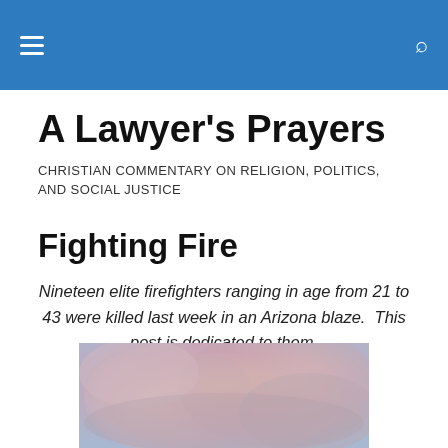A Lawyer's Prayers — navigation header with hamburger menu and search icon
A Lawyer's Prayers
CHRISTIAN COMMENTARY ON RELIGION, POLITICS, AND SOCIAL JUSTICE
Fighting Fire
Nineteen elite firefighters ranging in age from 21 to 43 were killed last week in an Arizona blaze.  This post is dedicated to them.
[Figure (photo): Photograph of a smoky sky with pink and orange hues, suggesting wildfire smoke or fire clouds]